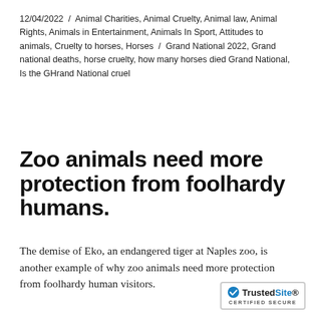12/04/2022 / Animal Charities, Animal Cruelty, Animal law, Animal Rights, Animals in Entertainment, Animals In Sport, Attitudes to animals, Cruelty to horses, Horses / Grand National 2022, Grand national deaths, horse cruelty, how many horses died Grand National, Is the GHrand National cruel
Zoo animals need more protection from foolhardy humans.
The demise of Eko, an endangered tiger at Naples zoo, is another example of why zoo animals need more protection from foolhardy human visitors.